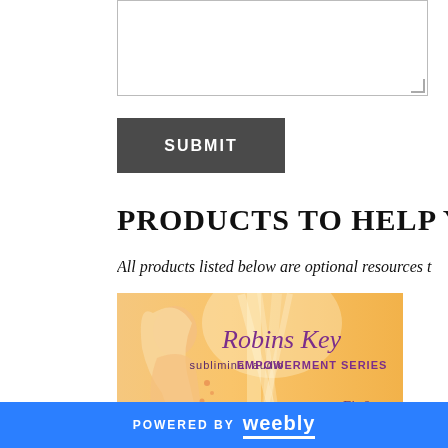[textarea input field]
SUBMIT
PRODUCTS TO HELP YOU IMPROVE
All products listed below are optional resources t...
[Figure (illustration): Robins Key subliminal audio EMPOWERMENT SERIES product image with a woman silhouette on orange/amber gradient background with rays of light. Text reads: Robins Key subliminal audio EMPOWERMENT SERIES. Partially visible text at bottom: Fit &]
POWERED BY weebly